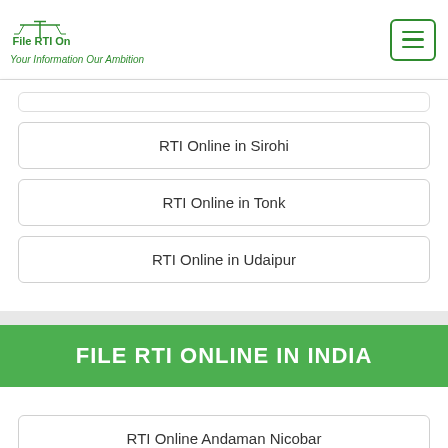[Figure (logo): File RTI Online logo with scales of justice icon and tagline 'Your Information Our Ambition']
RTI Online in Sirohi
RTI Online in Tonk
RTI Online in Udaipur
FILE RTI ONLINE IN INDIA
RTI Online Andaman Nicobar
RTI Online Andhra Pradesh